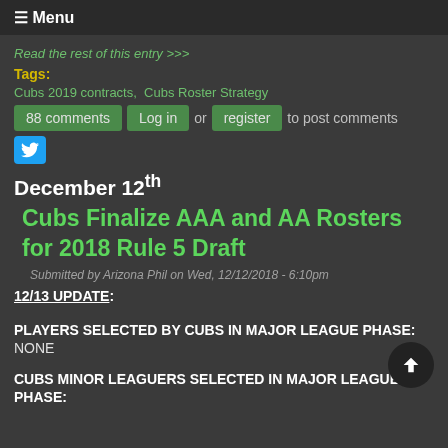☰ Menu
Read the rest of this entry >>>
Tags:
Cubs 2019 contracts,  Cubs Roster Strategy
88 comments  Log in or register to post comments
December 12th
Cubs Finalize AAA and AA Rosters for 2018 Rule 5 Draft
Submitted by Arizona Phil on Wed, 12/12/2018 - 6:10pm
12/13 UPDATE:
PLAYERS SELECTED BY CUBS IN MAJOR LEAGUE PHASE:
NONE
CUBS MINOR LEAGUERS SELECTED IN MAJOR LEAGUE PHASE: